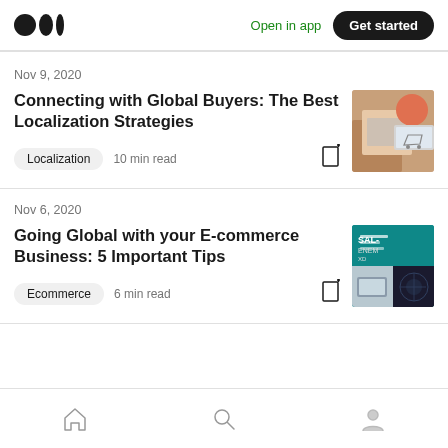Medium logo | Open in app | Get started
Nov 9, 2020
Connecting with Global Buyers: The Best Localization Strategies
Localization   10 min read
Nov 6, 2020
Going Global with your E-commerce Business: 5 Important Tips
Ecommerce   6 min read
Home | Search | Profile